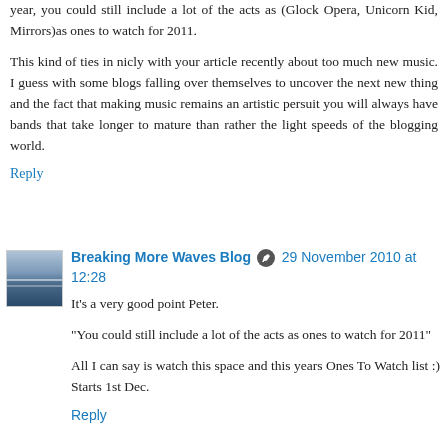year, you could still include a lot of the acts as (Glock Opera, Unicorn Kid, Mirrors)as ones to watch for 2011.
This kind of ties in nicly with your article recently about too much new music. I guess with some blogs falling over themselves to uncover the next new thing and the fact that making music remains an artistic persuit you will always have bands that take longer to mature than rather the light speeds of the blogging world.
Reply
Breaking More Waves Blog 29 November 2010 at 12:28
It's a very good point Peter.
"You could still include a lot of the acts as ones to watch for 2011"
All I can say is watch this space and this years Ones To Watch list :) Starts 1st Dec.
Reply